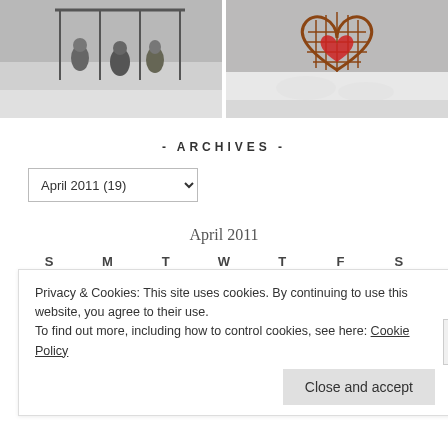[Figure (photo): Two black-and-white photos side by side. Left: children playing on swings in winter. Right: a heart-shaped wicker/wood structure in snow.]
- ARCHIVES -
April 2011  (19)
April 2011
| S | M | T | W | T | F | S |
| --- | --- | --- | --- | --- | --- | --- |
Privacy & Cookies: This site uses cookies. By continuing to use this website, you agree to their use.
To find out more, including how to control cookies, see here: Cookie Policy
Close and accept